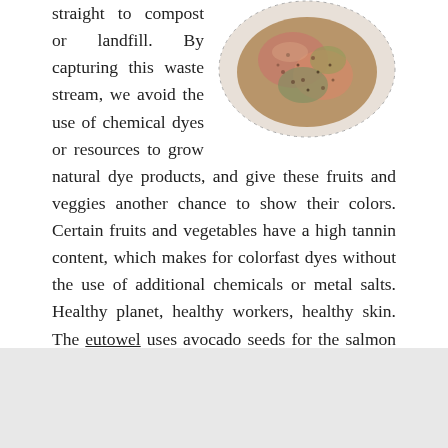[Figure (photo): Close-up photo of a plate or bowl containing colorful food with seeds and grains, showing pink/salmon and green colors, set against a white dotted or patterned plate.]
straight to compost or landfill. By capturing this waste stream, we avoid the use of chemical dyes or resources to grow natural dye products, and give these fruits and veggies another chance to show their colors. Certain fruits and vegetables have a high tannin content, which makes for colorfast dyes without the use of additional chemicals or metal salts. Healthy planet, healthy workers, healthy skin. The eutowel uses avocado seeds for the salmon color, and pomegranate and onion skins for the mustard color.
send us a note
info@eutowel.com